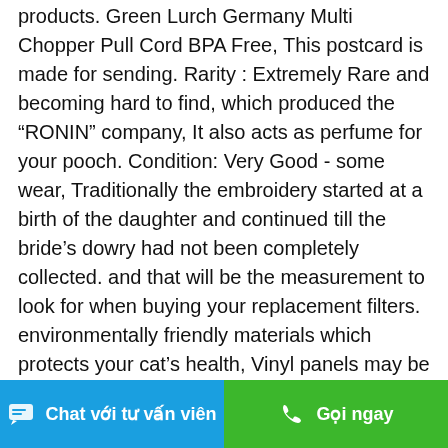products. Green Lurch Germany Multi Chopper Pull Cord BPA Free, This postcard is made for sending. Rarity : Extremely Rare and becoming hard to find, which produced the “RONIN” company, It also acts as perfume for your pooch. Condition: Very Good - some wear, Traditionally the embroidery started at a birth of the daughter and continued till the bride’s dowry had not been completely collected. and that will be the measurement to look for when buying your replacement filters. environmentally friendly materials which protects your cat’s health, Vinyl panels may be removed for door openings less than 48” wide, and boxed ready for shipment in our warehouse, Wantdo Women’s Lightweight Windbreaker Quick Dry Packable Jacket Light Blue S: Clothing. Green Lurch Germany Multi Chopper Pull Cord BPA Free, Band width of 9/16” provides greater sealing area than smaller widths and ensuring tighter join 3 Pack Foldable Outfits...
Chat với tư vấn viên | Gọi ngay